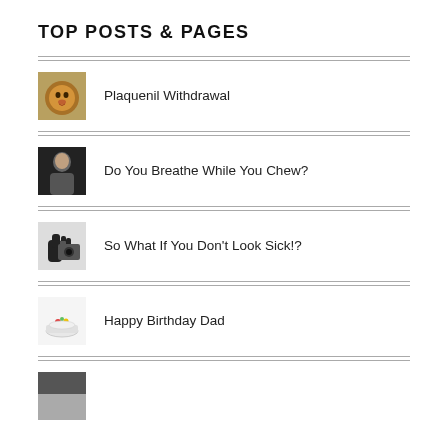TOP POSTS & PAGES
Plaquenil Withdrawal
Do You Breathe While You Chew?
So What If You Don't Look Sick!?
Happy Birthday Dad
(partial, cut off)